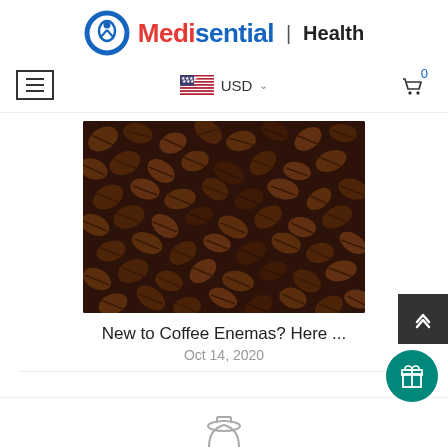[Figure (logo): Medisential Health logo with blue circular icon and red/blue text, with Health label]
[Figure (screenshot): Navigation bar with hamburger menu, USD currency selector with US flag, and shopping cart icon showing 0 items]
[Figure (photo): Close-up photograph of dark roasted coffee beans filling the entire frame]
New to Coffee Enemas? Here ...
Oct 14, 2020
[Figure (photo): Partial view of a product image at the bottom of the page]